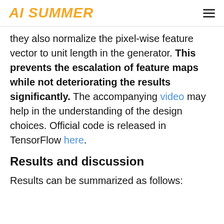AI SUMMER
they also normalize the pixel-wise feature vector to unit length in the generator. This prevents the escalation of feature maps while not deteriorating the results significantly. The accompanying video may help in the understanding of the design choices. Official code is released in TensorFlow here.
Results and discussion
Results can be summarized as follows: